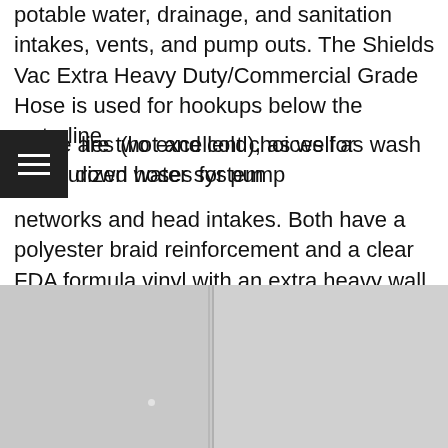potable water, drainage, and sanitation intakes, vents, and pump outs. The Shields Vac Extra Heavy Duty/Commercial Grade Hose is used for hookups below the waterline.
There are two excellent choices for pressurized water system plies (hot and cold), as well as wash down hoses for pump networks and head intakes. Both have a polyester braid reinforcement and a clear FDA formula vinyl with an extra heavy wall. The floating hose maintenance in Malaysia PVC Tubing has a 250# psi burst pressure as well as may be also used for drain lines, while the Heavy-Duty Polyester Reinforced PVC Tubing is exceptionally kink resistant.
[Figure (photo): Photograph of what appears to be a light gray or white surface, possibly a hose or pipe material, split into two panels by a vertical line.]